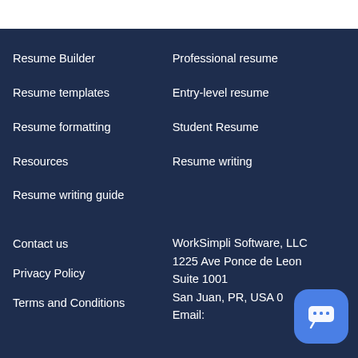Resume Builder
Resume templates
Resume formatting
Resources
Resume writing guide
Professional resume
Entry-level resume
Student Resume
Resume writing
Contact us
Privacy Policy
Terms and Conditions
WorkSimpli Software, LLC
1225 Ave Ponce de Leon
Suite 1001
San Juan, PR, USA 0
Email: